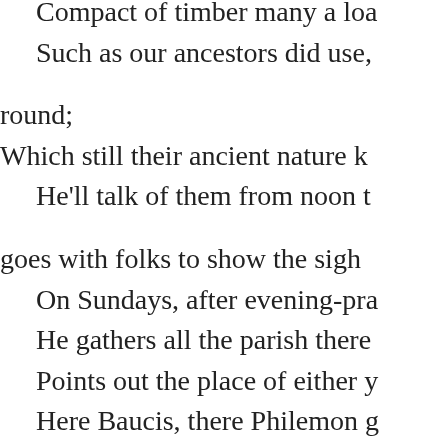Compact of timber many a load; / Such as our ancestors did use, / round; / Which still their ancient nature k / He'll talk of them from noon t / goes with folks to show the sight / On Sundays, after evening-pra / He gathers all the parish there / Points out the place of either y / Here Baucis, there Philemon g / Till once a parson of our town / To mend his barn, cut Baucis d / At which 'tis hard to be believ / How much the other tree was / G / Make me the parson if you